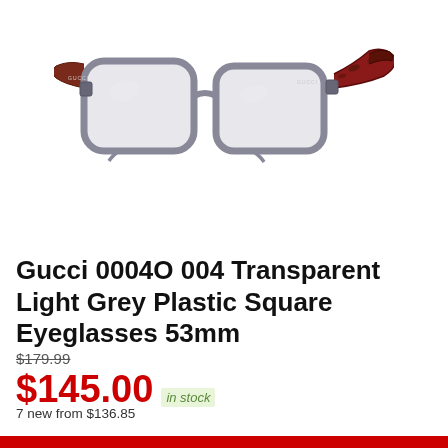[Figure (photo): Gucci eyeglasses with transparent light grey plastic square frames and tortoiseshell/dark red temples, photographed at a three-quarter angle on a white background.]
Gucci 0004O 004 Transparent Light Grey Plastic Square Eyeglasses 53mm
$179.99 (strikethrough)
$145.00 in stock
7 new from $136.85